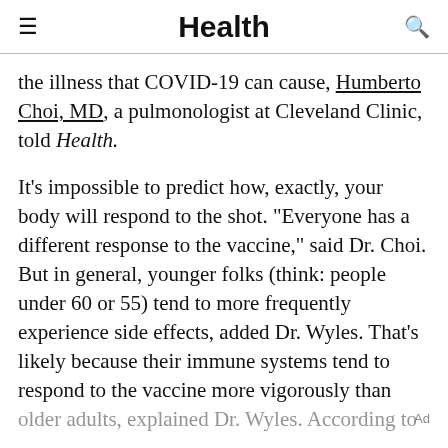Health
the illness that COVID-19 can cause, Humberto Choi, MD, a pulmonologist at Cleveland Clinic, told Health.
It's impossible to predict how, exactly, your body will respond to the shot. "Everyone has a different response to the vaccine," said Dr. Choi. But in general, younger folks (think: people under 60 or 55) tend to more frequently experience side effects, added Dr. Wyles. That's likely because their immune systems tend to respond to the vaccine more vigorously than older adults, explained Dr. Wyles. According to